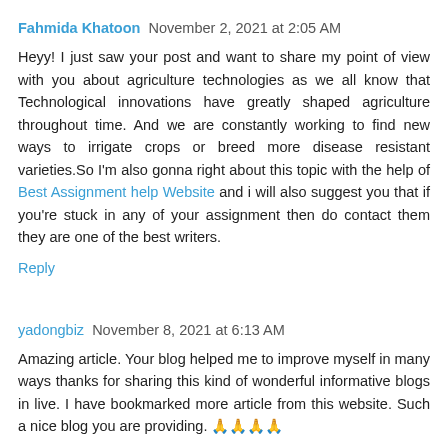Fahmida Khatoon  November 2, 2021 at 2:05 AM
Heyy! I just saw your post and want to share my point of view with you about agriculture technologies as we all know that Technological innovations have greatly shaped agriculture throughout time. And we are constantly working to find new ways to irrigate crops or breed more disease resistant varieties.So I'm also gonna right about this topic with the help of Best Assignment help Website and i will also suggest you that if you're stuck in any of your assignment then do contact them they are one of the best writers.
Reply
yadongbiz  November 8, 2021 at 6:13 AM
Amazing article. Your blog helped me to improve myself in many ways thanks for sharing this kind of wonderful informative blogs in live. I have bookmarked more article from this website. Such a nice blog you are providing. 🙏🙏🙏🙏